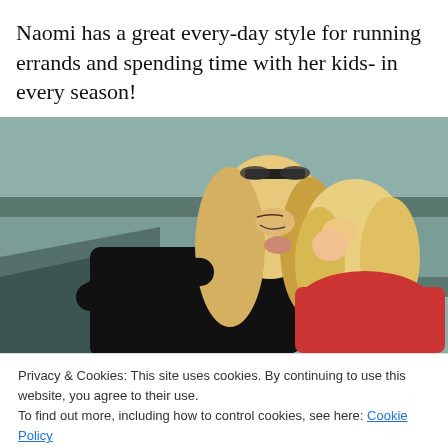Naomi has a great every-day style for running errands and spending time with her kids- in every season!
[Figure (photo): A blonde woman in a black top kissing a young blonde toddler in a red shirt, outdoors with green/grey architectural background]
Privacy & Cookies: This site uses cookies. By continuing to use this website, you agree to their use.
To find out more, including how to control cookies, see here: Cookie Policy
Close and accept
[Figure (photo): Partial bottom strip showing another photo, partially cut off]